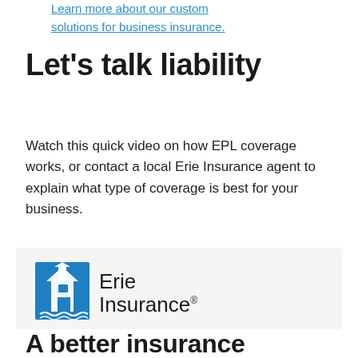Learn more about our custom solutions for business insurance.
Let's talk liability
Watch this quick video on how EPL coverage works, or contact a local Erie Insurance agent to explain what type of coverage is best for your business.
[Figure (logo): Erie Insurance logo — blue building/lighthouse icon with 'Erie Insurance' text in black]
A better insurance